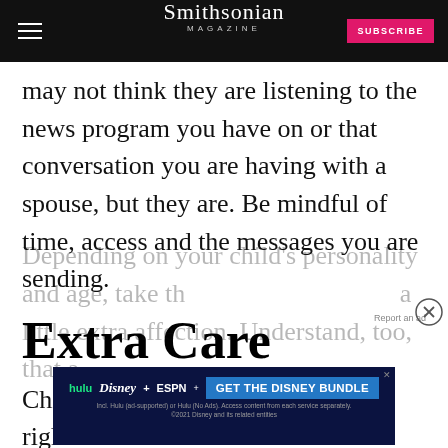Smithsonian MAGAZINE
may not think they are listening to the news program you have on or that conversation you are having with a spouse, but they are. Be mindful of time, access and the messages you are sending.
Extra Care
Children of all ages need extra care right now.
Depending on your child's personality and age, take th... a little extra affection. Understand, too, that a